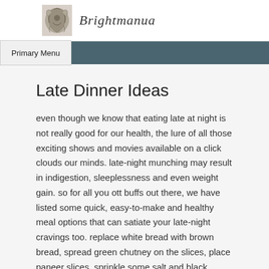Brightmanua
Primary Menu
Late Dinner Ideas
even though we know that eating late at night is not really good for our health, the lure of all those exciting shows and movies available on a click clouds our minds. late-night munching may result in indigestion, sleeplessness and even weight gain. so for all you ott buffs out there, we have listed some quick, easy-to-make and healthy meal options that can satiate your late-night cravings too. replace white bread with brown bread, spread green chutney on the slices, place paneer slices, sprinkle some salt and black pepper powder, close the sandwich and rub a small amount of ghee on top